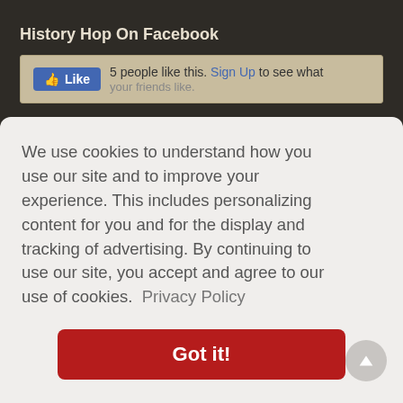History Hop On Facebook
[Figure (screenshot): Facebook Like widget showing '5 people like this. Sign Up to see what your friends like.' with a blue Like button.]
Quick Links
Co...
Ab...
Me...
Ge...
Co...
We use cookies to understand how you use our site and to improve your experience. This includes personalizing content for you and for the display and tracking of advertising. By continuing to use our site, you accept and agree to our use of cookies.  Privacy Policy
Got it!